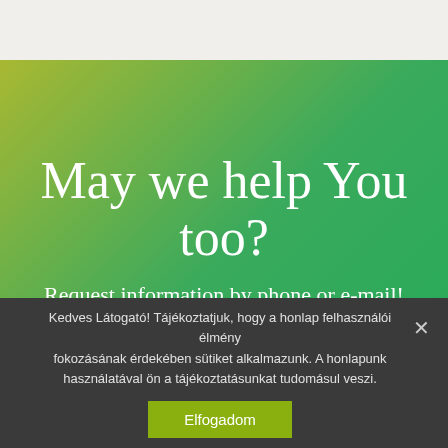[Figure (illustration): Light beige/tan top bar area at the top of the page]
May we help You too?
Request information by phone or e-mail!
Kedves Látogató! Tájékoztatjuk, hogy a honlap felhasználói élmény fokozásának érdekében sütiket alkalmazunk. A honlapunk használatával ön a tájékoztatásunkat tudomásul veszi.
Elfogadom